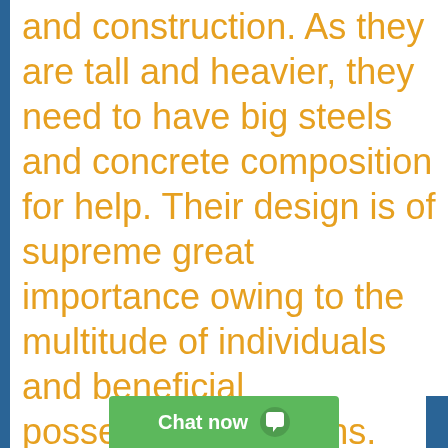and construction. As they are tall and heavier, they need to have big steels and concrete composition for help. Their design is of supreme great importance owing to the multitude of individuals and beneficial possessions it retains. With most recent know-how and equipments